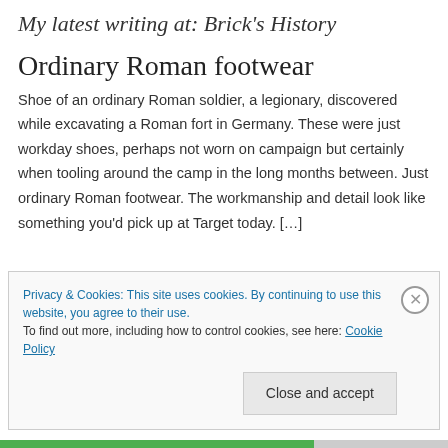My latest writing at: Brick's History
Ordinary Roman footwear
Shoe of an ordinary Roman soldier, a legionary, discovered while excavating a Roman fort in Germany. These were just workday shoes, perhaps not worn on campaign but certainly when tooling around the camp in the long months between. Just ordinary Roman footwear. The workmanship and detail look like something you'd pick up at Target today. […]
Privacy & Cookies: This site uses cookies. By continuing to use this website, you agree to their use.
To find out more, including how to control cookies, see here: Cookie Policy
Close and accept